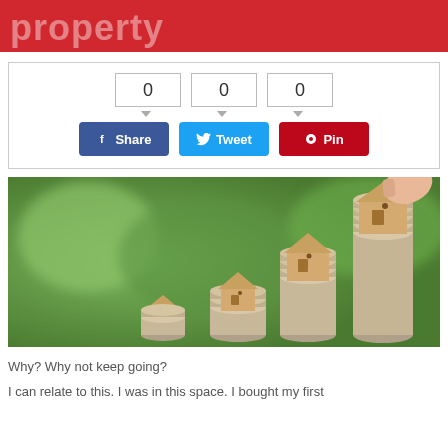property
[Figure (screenshot): Social share widget with three count boxes showing 0, 0, 0 and three buttons: Share (Facebook, blue), Tweet (Twitter, light blue), Pin (Pinterest, red)]
[Figure (photo): Stacked coins with miniature wooden house models placed on top of each stack, increasing in size from left to right, with a hand placing the largest house on the tallest coin stack. Green blurred background.]
Why? Why not keep going?
I can relate to this. I was in this space. I bought my first